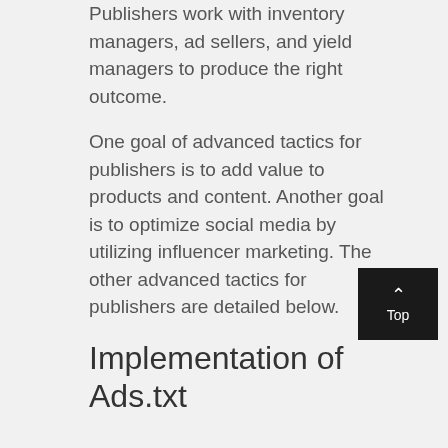Publishers work with inventory managers, ad sellers, and yield managers to produce the right outcome.
One goal of advanced tactics for publishers is to add value to products and content. Another goal is to optimize social media by utilizing influencer marketing. The other advanced tactics for publishers are detailed below.
Implementation of Ads.txt